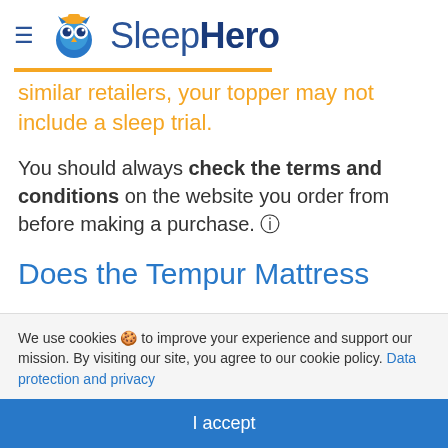SleepHero
similar retailers, your topper may not include a sleep trial.
You should always check the terms and conditions on the website you order from before making a purchase. 🛈
Does the Tempur Mattress
We use cookies 🍪 to improve your experience and support our mission. By visiting our site, you agree to our cookie policy. Data protection and privacy
I accept